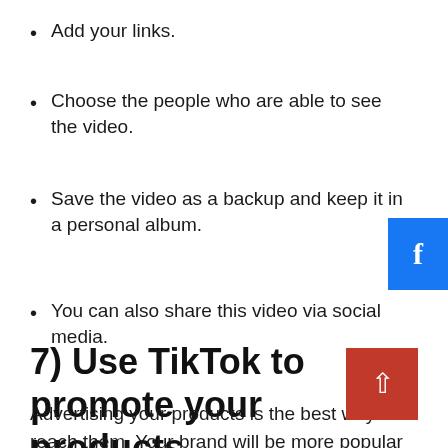Add your links.
Choose the people who are able to see the video.
Save the video as a backup and keep it in a personal album.
You can also share this video via social media.
7) Use TikTok to promote your products
Advertising your products is the best way to reach them. Your brand will be more popular the more